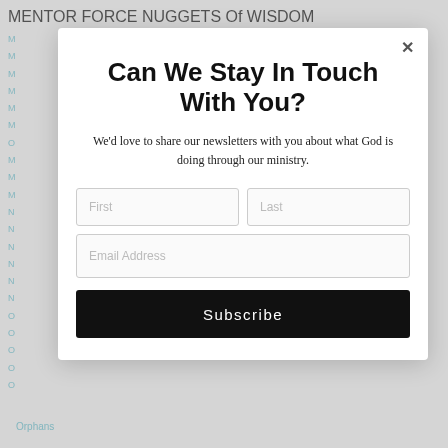MENTOR FORCE NUGGETS OF WISDOM
Can We Stay In Touch With You?
We'd love to share our newsletters with you about what God is doing through our ministry.
First | Last | Email Address | Subscribe